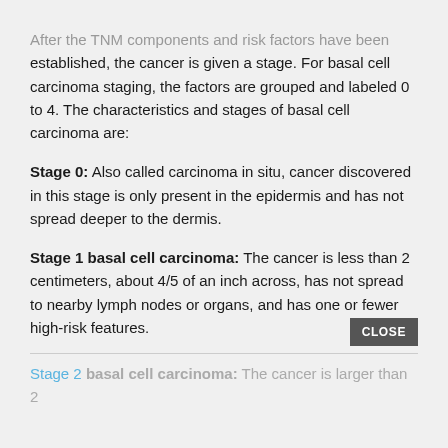After the TNM components and risk factors have been established, the cancer is given a stage. For basal cell carcinoma staging, the factors are grouped and labeled 0 to 4. The characteristics and stages of basal cell carcinoma are:
Stage 0: Also called carcinoma in situ, cancer discovered in this stage is only present in the epidermis and has not spread deeper to the dermis.
Stage 1 basal cell carcinoma: The cancer is less than 2 centimeters, about 4/5 of an inch across, has not spread to nearby lymph nodes or organs, and has one or fewer high-risk features.
Stage 2 basal cell carcinoma: The cancer is larger than 2